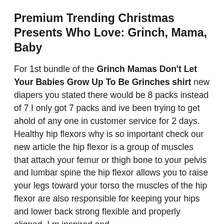Premium Trending Christmas Presents Who Love: Grinch, Mama, Baby
For 1st bundle of the Grinch Mamas Don't Let Your Babies Grow Up To Be Grinches shirt new diapers you stated there would be 8 packs instead of 7 I only got 7 packs and ive been trying to get ahold of any one in customer service for 2 days. Healthy hip flexors why is so important check our new article the hip flexor is a group of muscles that attach your femur or thigh bone to your pelvis and lumbar spine the hip flexor allows you to raise your legs toward your torso the muscles of the hip flexor are also responsible for keeping your hips and lower back strong flexible and properly aligned. I m inspired and